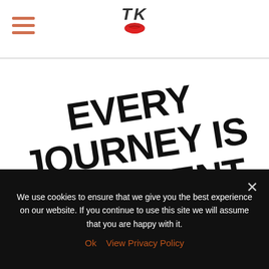TK [logo with lips icon]
[Figure (illustration): Large bold italic rotated text reading EVERY JOURNEY IS DIFFERENT on white background]
We use cookies to ensure that we give you the best experience on our website. If you continue to use this site we will assume that you are happy with it.
Ok   View Privacy Policy